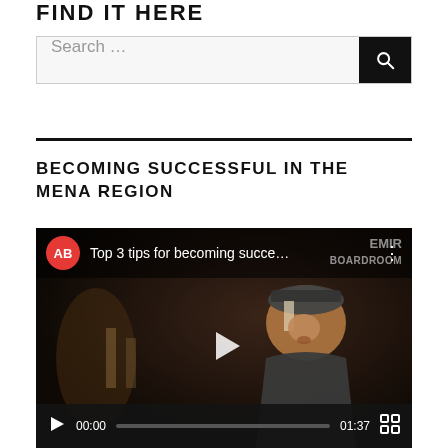FIND IT HERE
[Figure (screenshot): Search bar with text input field and black search button with magnifying glass icon]
BECOMING SUCCESSFUL IN THE MENA REGION
[Figure (screenshot): YouTube embedded video player showing 'Top 3 tips for becoming succe...' with AB channel avatar, person in traditional Middle Eastern attire, EMIR BOARDROOM watermark, play button overlay, and controls showing 00:00 / 01:37 with progress bar and fullscreen button]